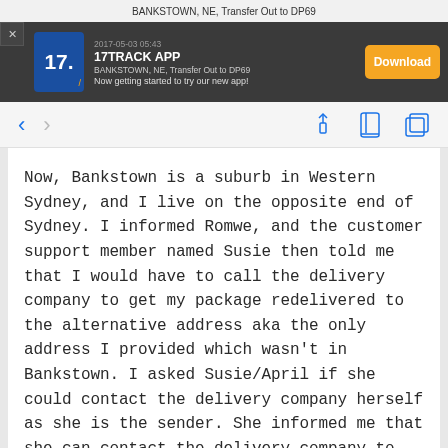BANKSTOWN, NE, Transfer Out to DP69
[Figure (screenshot): 17TRACK APP advertisement banner on a dark background. Shows '17TRACK APP' title, 'BANKSTOWN, NE, Transfer Out to DP69' subtitle text, 'Now getting started to try our new app!' message, and an orange 'Download' button. Has a close (X) button at top left.]
[Figure (screenshot): Mobile browser navigation bar with back arrow (blue), forward arrow (grey), share icon, bookmarks icon, and tabs icon.]
Now, Bankstown is a suburb in Western Sydney, and I live on the opposite end of Sydney. I informed Romwe, and the customer support member named Susie then told me that I would have to call the delivery company to get my package redelivered to the alternative address aka the only address I provided which wasn't in Bankstown. I asked Susie/April if she could contact the delivery company herself as she is the sender. She informed me that she can contact the delivery company to have them deliver it to the only address I provided (not